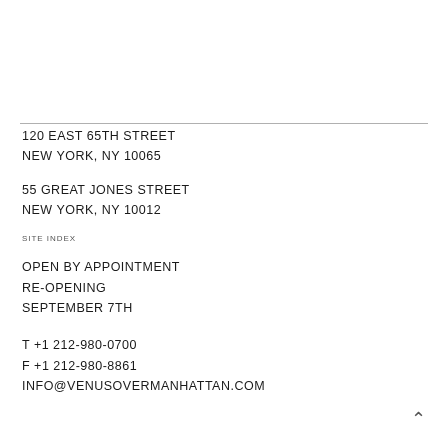120 EAST 65TH STREET
NEW YORK, NY 10065
55 GREAT JONES STREET
NEW YORK, NY 10012
SITE INDEX
OPEN BY APPOINTMENT
RE-OPENING
SEPTEMBER 7TH
T +1 212-980-0700
F +1 212-980-8861
INFO@VENUSOVERMANHATTAN.COM